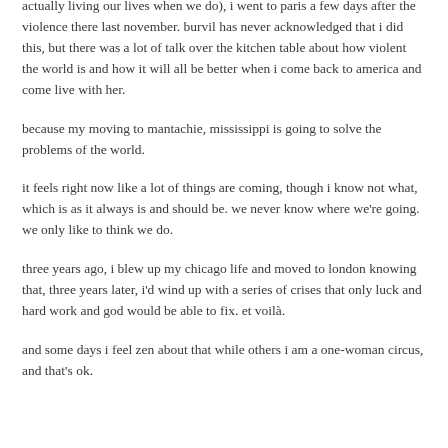actually living our lives when we do), i went to paris a few days after the violence there last november. burvil has never acknowledged that i did this, but there was a lot of talk over the kitchen table about how violent the world is and how it will all be better when i come back to america and come live with her.
because my moving to mantachie, mississippi is going to solve the problems of the world.
it feels right now like a lot of things are coming, though i know not what, which is as it always is and should be. we never know where we're going. we only like to think we do.
three years ago, i blew up my chicago life and moved to london knowing that, three years later, i'd wind up with a series of crises that only luck and hard work and god would be able to fix. et voilà.
and some days i feel zen about that while others i am a one-woman circus, and that's ok.